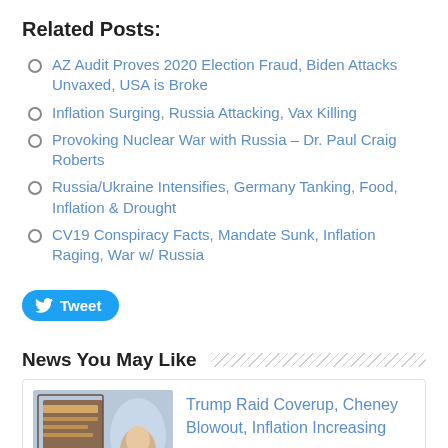Related Posts:
AZ Audit Proves 2020 Election Fraud, Biden Attacks Unvaxed, USA is Broke
Inflation Surging, Russia Attacking, Vax Killing
Provoking Nuclear War with Russia – Dr. Paul Craig Roberts
Russia/Ukraine Intensifies, Germany Tanking, Food, Inflation & Drought
CV19 Conspiracy Facts, Mandate Sunk, Inflation Raging, War w/ Russia
Tweet
News You May Like
Trump Raid Coverup, Cheney Blowout, Inflation Increasing